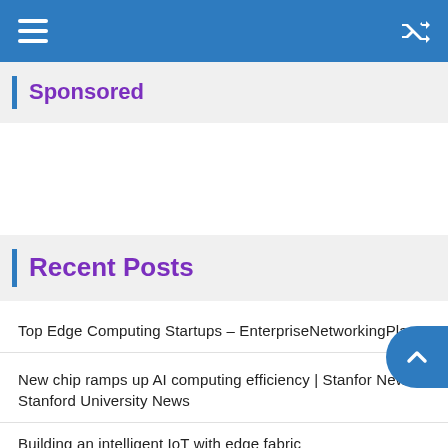Navigation header with hamburger menu and shuffle icon
Sponsored
Recent Posts
Top Edge Computing Startups – EnterpriseNetworkingPlanet
New chip ramps up AI computing efficiency | Stanford News – Stanford University News
Building an intelligent IoT with edge fabric
Vapor IO Targets 'Near Premises' with More Sites,